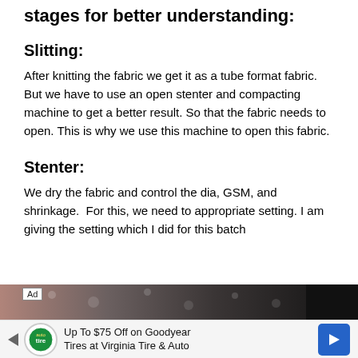stages for better understanding:
Slitting:
After knitting the fabric we get it as a tube format fabric. But we have to use an open stenter and compacting machine to get a better result. So that the fabric needs to open. This is why we use this machine to open this fabric.
Stenter:
We dry the fabric and control the dia, GSM, and shrinkage.  For this, we need to appropriate setting. I am giving the setting which I did for this batch
[Figure (photo): Advertisement banner showing a photo background with an 'Ad' label, and a Tire and Auto service advertisement with Goodyear branding offering Up To $75 Off, with a blue directional arrow icon.]